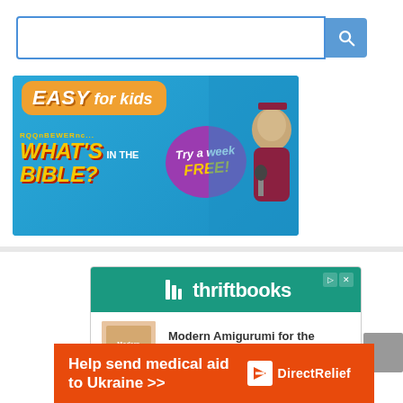[Figure (screenshot): Search bar with blue border and a blue search button with magnifying glass icon]
[Figure (infographic): Banner ad for What's in the Bible? - EASY for kids, Try a week FREE! with puppet character]
[Figure (infographic): ThriftBooks advertisement showing two books: Modern Amigurumi for the Home $9.99 and The Magical Yet $16.45]
[Figure (infographic): Orange banner ad: Help send medical aid to Ukraine >> Direct Relief]